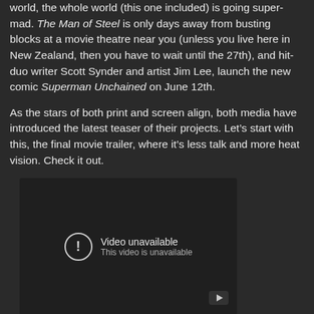world, the whole world (this one included) is going super-mad. The Man of Steel is only days away from busting blocks at a movie theatre near you (unless you live here in New Zealand, then you have to wait until the 27th), and hit-duo writer Scott Synder and artist Jim Lee, launch the new comic Superman Unchained on June 12th.
As the stars of both print and screen align, both media have introduced the latest teaser of their projects. Let’s start with this, the final movie trailer, where it’s less talk and more heat vision. Check it out.
[Figure (screenshot): Embedded YouTube video player showing 'Video unavailable — This video is unavailable' error message with an exclamation mark icon and YouTube logo button in the bottom right corner.]